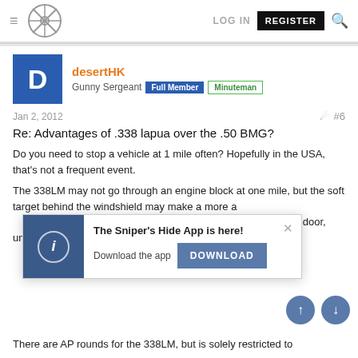Sniper's Hide forum header with logo, LOG IN, REGISTER, and search
desertHK
Gunny Sergeant  Full Member  Minuteman
Jan 2, 2012   #6
Re: Advantages of .338 lapua over the .50 BMG?
Do you need to stop a vehicle at 1 mile often? Hopefully in the USA, that's not a frequent event.
The 338LM may not go through an engine block at one mile, but the soft target behind the windshield may make a more a[…] receiving end of a[…] car door, unless it is[…]
[Figure (screenshot): Popup notification: 'The Sniper's Hide App is here!' with Download button]
There are AP rounds for the 338LM, but is solely restricted to